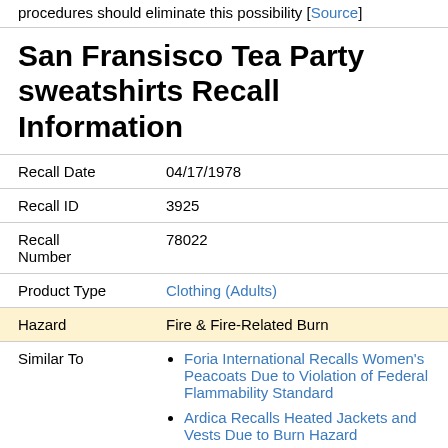procedures should eliminate this possibility [Source]
San Fransisco Tea Party sweatshirts Recall Information
| Field | Value |
| --- | --- |
| Recall Date | 04/17/1978 |
| Recall ID | 3925 |
| Recall Number | 78022 |
| Product Type | Clothing (Adults) |
| Hazard | Fire & Fire-Related Burn |
| Similar To | Foria International Recalls Women's Peacoats Due to Violation of Federal Flammability Standard; Ardica Recalls Heated Jackets and Vests Due to Burn Hazard |